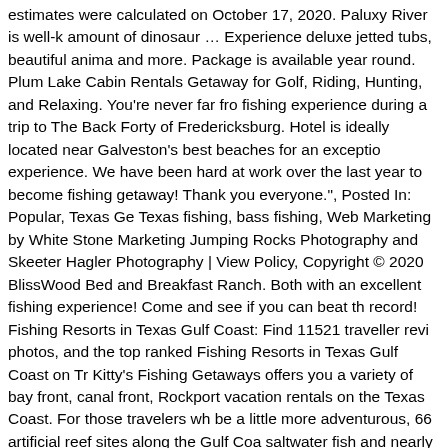estimates were calculated on October 17, 2020. Paluxy River is well-known for the amount of dinosaur … Experience deluxe jetted tubs, beautiful anima and more. Package is available year round. Plum Lake Cabin Rentals Getaway for Golf, Riding, Hunting, and Relaxing. You're never far from fishing experience during a trip to The Back Forty of Fredericksburg. Hotel is ideally located near Galveston's best beaches for an exceptio experience. We have been hard at work over the last year to become fishing getaway! Thank you everyone.", Posted In: Popular, Texas Ge Texas fishing, bass fishing, Web Marketing by White Stone Marketing Jumping Rocks Photography and Skeeter Hagler Photography | View Policy, Copyright © 2020 BlissWood Bed and Breakfast Ranch. Both with an excellent fishing experience! Come and see if you can beat th record! Fishing Resorts in Texas Gulf Coast: Find 11521 traveller revi photos, and the top ranked Fishing Resorts in Texas Gulf Coast on Tr Kitty's Fishing Getaways offers you a variety of bay front, canal front, Rockport vacation rentals on the Texas Coast. For those travelers wh be a little more adventurous, 66 artificial reef sites along the Gulf Coa saltwater fish and nearly 200 marine fish species including striped mu seatrout, tarpon and common snook. Read and compare over 1979 re dream hotel & save with us! The Lantana Spa at JW Marriott San Anto Resort & Spa is perfect for busy parents looking for relaxation… Begi